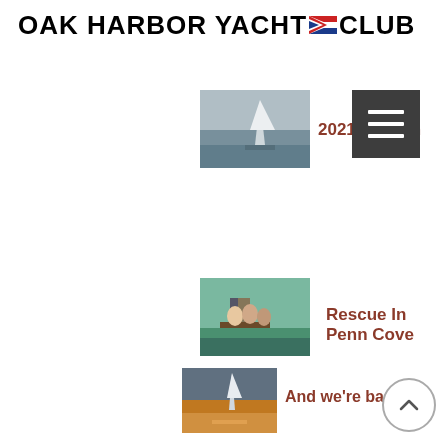OAK HARBOR YACHT CLUB
[Figure (photo): Sailboat at marina thumbnail]
2021 Season
[Figure (illustration): Hamburger menu icon button]
[Figure (photo): Group of people on a pier thumbnail]
Rescue In Penn Cove
[Figure (photo): Sailboat at sunset thumbnail]
And we're back!
[Figure (photo): Sailboats on blue water thumbnail]
The 2020 Sailing Season Kicks off Mar 12th